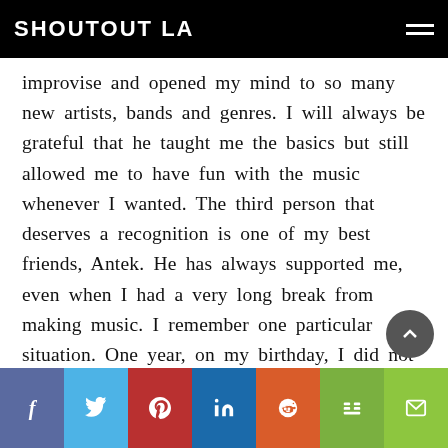SHOUTOUT LA
improvise and opened my mind to so many new artists, bands and genres. I will always be grateful that he taught me the basics but still allowed me to have fun with the music whenever I wanted. The third person that deserves a recognition is one of my best friends, Antek. He has always supported me, even when I had a very long break from making music. I remember one particular situation. One year, on my birthday, I did not feel like going anywhere to celebrate but he took me to a very popular music club in Warsaw that evening. I remember there was one band that was absolutely fantastic. They were a Funk/Hip-Hop band and
f  Twitter  Pinterest  in  Reddit  m  Email